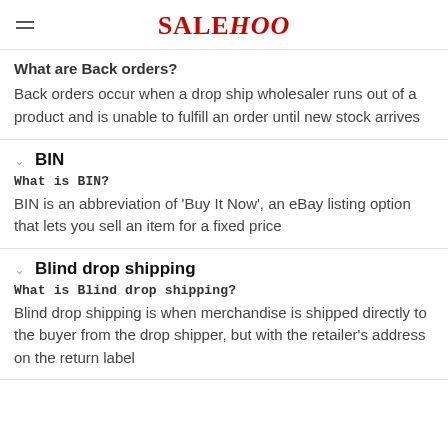SALEHOO
What are Back orders?
Back orders occur when a drop ship wholesaler runs out of a product and is unable to fulfill an order until new stock arrives
BIN
What is BIN?
BIN is an abbreviation of 'Buy It Now', an eBay listing option that lets you sell an item for a fixed price
Blind drop shipping
What is Blind drop shipping?
Blind drop shipping is when merchandise is shipped directly to the buyer from the drop shipper, but with the retailer's address on the return label